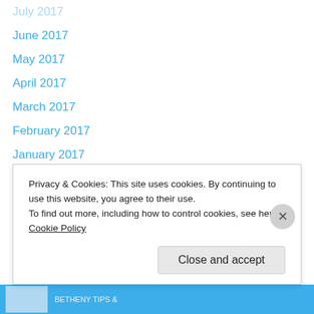July 2017
June 2017
May 2017
April 2017
March 2017
February 2017
January 2017
December 2016
November 2016
September 2016
August 2016
July 2016
June 2016
May 2016
Privacy & Cookies: This site uses cookies. By continuing to use this website, you agree to their use. To find out more, including how to control cookies, see here: Cookie Policy
Close and accept